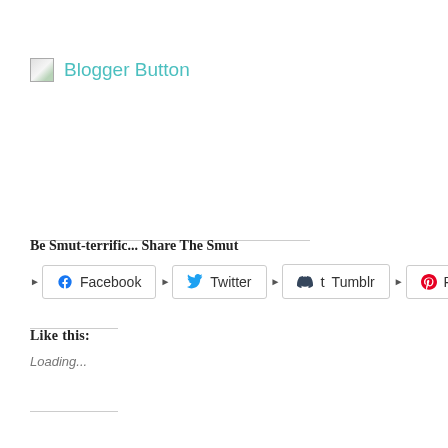[Figure (illustration): Small broken image placeholder icon followed by 'Blogger Button' text in teal/cyan color]
Be Smut-terrific... Share The Smut
[Figure (infographic): Row of social sharing buttons: Facebook, Twitter, Tumblr, Pinterest, Email with a more arrow at the end]
Like this:
Loading...